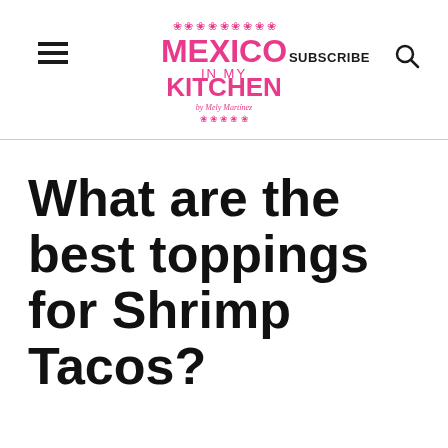Mexico in My Kitchen | SUBSCRIBE
What are the best toppings for Shrimp Tacos?